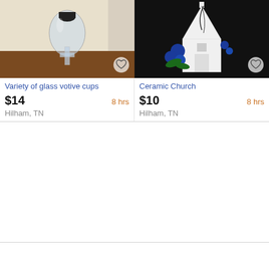[Figure (photo): Glass votive cup with cross stem on wooden table against beige wall]
Variety of glass votive cups
$14  8 hrs
Hilham, TN
[Figure (photo): White ceramic church decoration with blue roses and greenery on black background]
Ceramic Church
$10  8 hrs
Hilham, TN